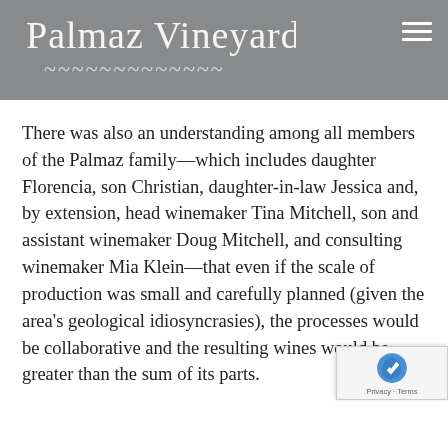Palmaz Vineyards
There was also an understanding among all members of the Palmaz family—which includes daughter Florencia, son Christian, daughter-in-law Jessica and, by extension, head winemaker Tina Mitchell, son and assistant winemaker Doug Mitchell, and consulting winemaker Mia Klein—that even if the scale of production was small and carefully planned (given the area's geological idiosyncrasies), the processes would be collaborative and the resulting wines would be greater than the sum of its parts.